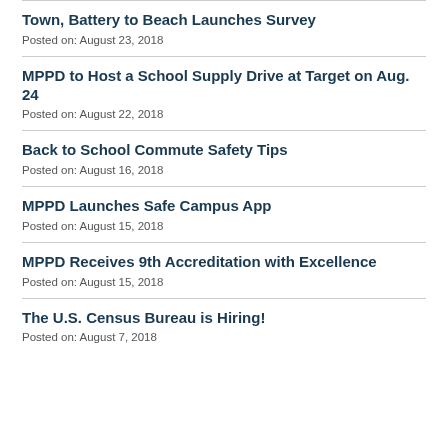Town, Battery to Beach Launches Survey
Posted on: August 23, 2018
MPPD to Host a School Supply Drive at Target on Aug. 24
Posted on: August 22, 2018
Back to School Commute Safety Tips
Posted on: August 16, 2018
MPPD Launches Safe Campus App
Posted on: August 15, 2018
MPPD Receives 9th Accreditation with Excellence
Posted on: August 15, 2018
The U.S. Census Bureau is Hiring!
Posted on: August 7, 2018